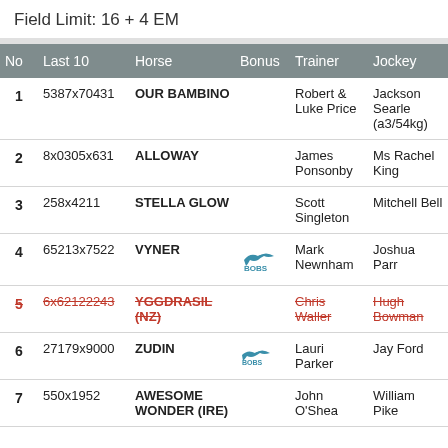Field Limit: 16 + 4 EM
| No | Last 10 | Horse | Bonus | Trainer | Jockey |
| --- | --- | --- | --- | --- | --- |
| 1 | 5387x70431 | OUR BAMBINO |  | Robert & Luke Price | Jackson Searle (a3/54kg) |
| 2 | 8x0305x631 | ALLOWAY |  | James Ponsonby | Ms Rachel King |
| 3 | 258x4211 | STELLA GLOW |  | Scott Singleton | Mitchell Bell |
| 4 | 65213x7522 | VYNER | BOBS | Mark Newnham | Joshua Parr |
| 5 (scratched) | 6x62122243 (scratched) | YGGDRASIL (NZ) (scratched) |  | Chris Waller (scratched) | Hugh Bowman (scratched) |
| 6 | 27179x9000 | ZUDIN | BOBS | Lauri Parker | Jay Ford |
| 7 | 550x1952 | AWESOME WONDER (IRE) |  | John O'Shea | William Pike |